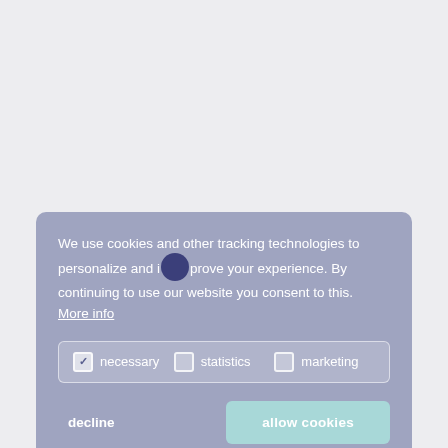We use cookies and other tracking technologies to personalize and improve your experience. By continuing to use our website you consent to this. More info
necessary   statistics   marketing
decline
allow cookies